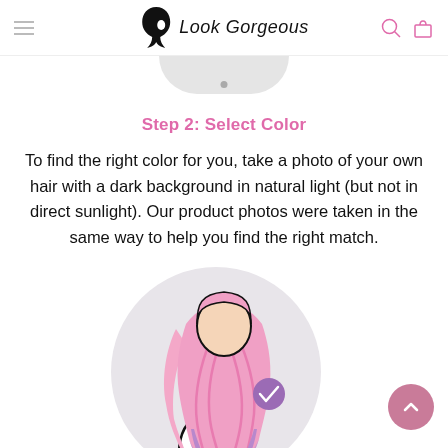Look Gorgeous
Step 2: Select Color
To find the right color for you, take a photo of your own hair with a dark background in natural light (but not in direct sunlight). Our product photos were taken in the same way to help you find the right match.
[Figure (illustration): Illustration of a person seen from behind with long wavy pink-to-purple ombre hair, shown inside a light gray circle. A small purple circle with a white checkmark appears to the right of the figure.]